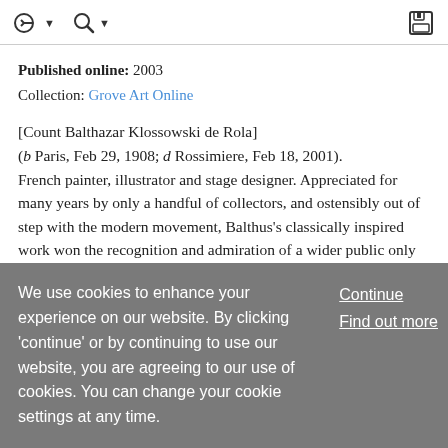toolbar with navigation and save icons
Published online: 2003
Collection: Grove Art Online
[Count Balthazar Klossowski de Rola]
(b Paris, Feb 29, 1908; d Rossimiere, Feb 18, 2001). French painter, illustrator and stage designer. Appreciated for many years by only a handful of collectors, and ostensibly out of step with the modern movement, Balthus's classically inspired work won the recognition and admiration of a wider public only late in his career. Although he received no formal training, he came from a highly
We use cookies to enhance your experience on our website. By clicking 'continue' or by continuing to use our website, you are agreeing to our use of cookies. You can change your cookie settings at any time.